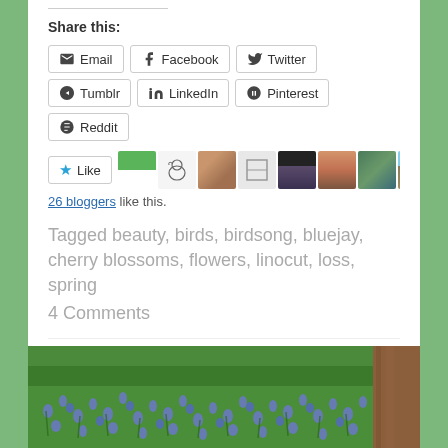Share this:
Email  Facebook  Twitter  Tumblr  LinkedIn  Pinterest  Reddit
[Figure (photo): Like button with star icon and row of 9 blogger avatar thumbnails]
26 bloggers like this.
Tagged beauty, birds, birdsong, bluejay, cherry blossoms, flowers, linocut, loss, spring
4 Comments
[Figure (photo): Photograph of blue flowers (scilla/squill) growing densely with green foliage, with a tree trunk visible on the right edge]